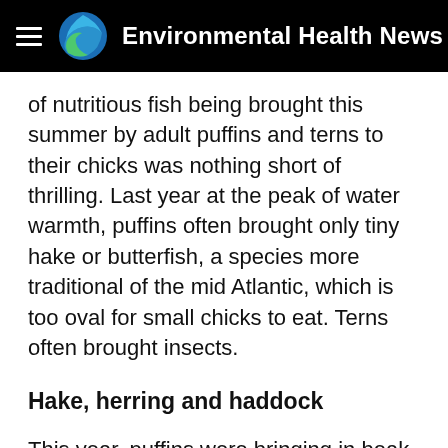Environmental Health News
of nutritious fish being brought this summer by adult puffins and terns to their chicks was nothing short of thrilling. Last year at the peak of water warmth, puffins often brought only tiny hake or butterfish, a species more traditional of the mid Atlantic, which is too oval for small chicks to eat. Terns often brought insects.
Hake, herring and haddock
This year, puffins were bringing in beak loads of thick, juicy hake, herring,